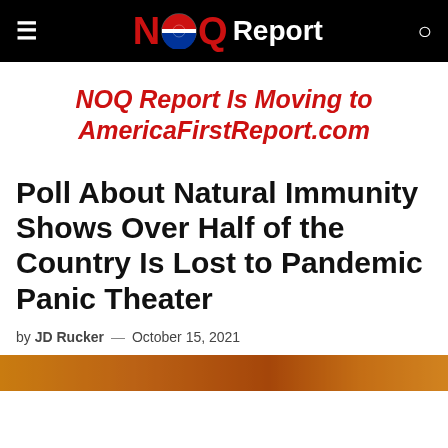≡  NOQ Report  🔍
NOQ Report Is Moving to AmericaFirstReport.com
Poll About Natural Immunity Shows Over Half of the Country Is Lost to Pandemic Panic Theater
by JD Rucker — October 15, 2021
[Figure (photo): Partial image strip at bottom of page, warm orange/amber tones]